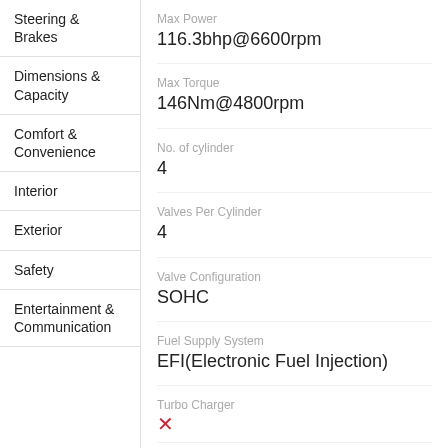Steering & Brakes
Dimensions & Capacity
Comfort & Convenience
Interior
Exterior
Safety
Entertainment & Communication
| Specification | Value |
| --- | --- |
| Max Power | 116.3bhp@6600rpm |
| Max Torque | 146Nm@4800rpm |
| No. of cylinder | 4 |
| Valves Per Cylinder | 4 |
| Valve Configuration | SOHC |
| Fuel Supply System | EFI(Electronic Fuel Injection) |
| Turbo Charger | ✗ |
| Super Charge | ✗ |